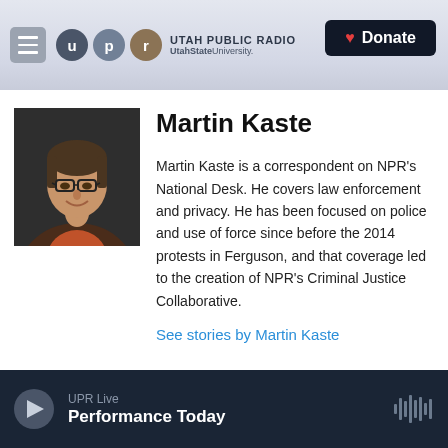Utah Public Radio — UtahStateUniversity. | Donate
[Figure (photo): Headshot of Martin Kaste, a man wearing glasses and a dark jacket, smiling, against a dark background]
Martin Kaste
Martin Kaste is a correspondent on NPR's National Desk. He covers law enforcement and privacy. He has been focused on police and use of force since before the 2014 protests in Ferguson, and that coverage led to the creation of NPR's Criminal Justice Collaborative.
See stories by Martin Kaste
UPR Live — Performance Today